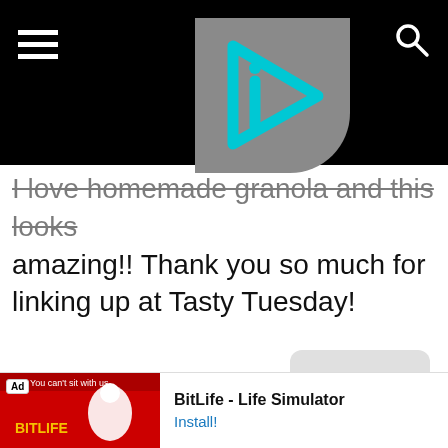[Figure (logo): Website header with black background, hamburger menu icon on left, gray square logo with cyan play-button triangle and letter i in center, search icon on right]
I love homemade granola and this looks amazing!! Thank you so much for linking up at Tasty Tuesday!
REPLY
[Figure (infographic): Advertisement banner: BitLife - Life Simulator with red game image on left and Install! link on right]